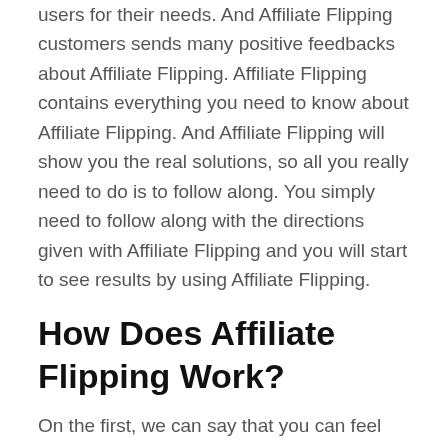users for their needs. And Affiliate Flipping customers sends many positive feedbacks about Affiliate Flipping. Affiliate Flipping contains everything you need to know about Affiliate Flipping. And Affiliate Flipping will show you the real solutions, so all you really need to do is to follow along. You simply need to follow along with the directions given with Affiliate Flipping and you will start to see results by using Affiliate Flipping.
How Does Affiliate Flipping Work?
On the first, we can say that you can feel that this is the right product you had been dreaming for a long time. Even though I was doubtful of the value of Affiliate Flipping, If you download Affiliate Flipping and do not enjoy it. Do not worry about Affiliate Flipping. Ive always noticed real results from using Affiliate Flipping. A great blending